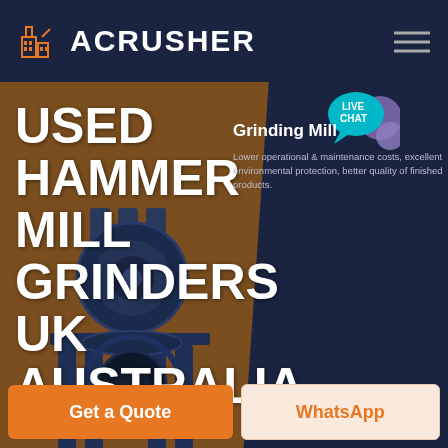ACRUSHER
USED HAMMER MILL GRINDERS UK AUSTRALIA
Grinding Mill
Lower operational & maintenance costs, excellent environmental protection, better quality of finished products.
[Figure (screenshot): Live Chat speech bubble icon with text LIVE CHAT]
[Figure (photo): Industrial hammer mill grinder machine, dark blue/navy color, photographed against brown and dark background]
HOME / PRODUCTS
Get a Quote
WhatsApp